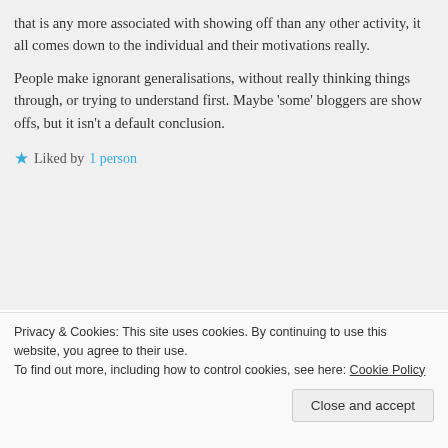that is any more associated with showing off than any other activity, it all comes down to the individual and their motivations really.

People make ignorant generalisations, without really thinking things through, or trying to understand first. Maybe 'some' bloggers are show offs, but it isn't a default conclusion.
★ Liked by 1 person
debscarey
15/02/2022 at 10:44 am
Privacy & Cookies: This site uses cookies. By continuing to use this website, you agree to their use.
To find out more, including how to control cookies, see here: Cookie Policy
Close and accept
say 😊